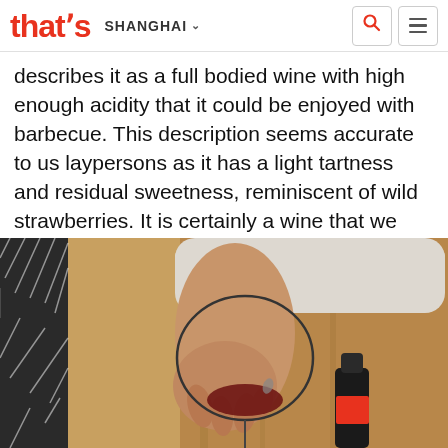that's SHANGHAI
describes it as a full bodied wine with high enough acidity that it could be enjoyed with barbecue. This description seems accurate to us laypersons as it has a light tartness and residual sweetness, reminiscent of wild strawberries. It is certainly a wine that we might crack into over some fire roasted Xinjiang lamb gonads. The petit verdot is aged in French oak barrels for 12 months.
[Figure (photo): A person holding a wine glass by the stem over a wine bottle, pouring or examining red wine. Background shows a wooden surface and a patterned fabric.]